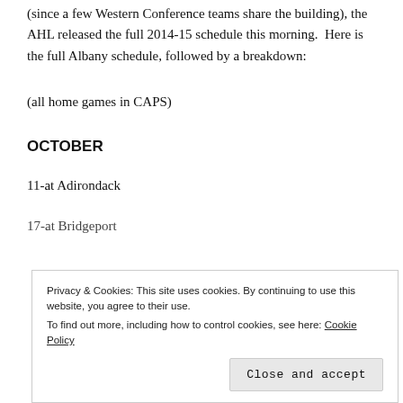(since a few Western Conference teams share the building), the AHL released the full 2014-15 schedule this morning.  Here is the full Albany schedule, followed by a breakdown:
(all home games in CAPS)
OCTOBER
11-at Adirondack
17-at Bridgeport
Privacy & Cookies: This site uses cookies. By continuing to use this website, you agree to their use.
To find out more, including how to control cookies, see here: Cookie Policy